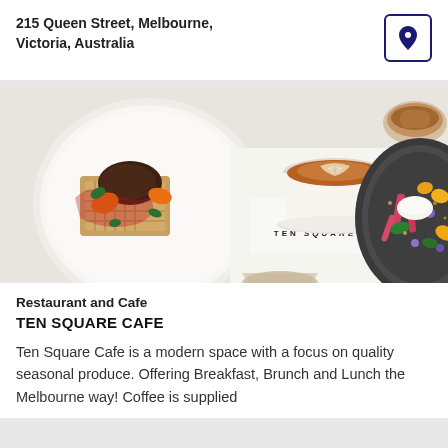215 Queen Street, Melbourne, Victoria, Australia
[Figure (photo): Food photography showing restaurant dishes: a gourmet waffle with toppings and red sauce on a white plate, a latte coffee with latte art in a white cup, a colorful fruit and flower salad on a dark plate, and a small bowl of crumble. TEN SQUARE branding visible on white surface.]
Restaurant and Cafe
TEN SQUARE CAFE
Ten Square Cafe is a modern space with a focus on quality seasonal produce. Offering Breakfast, Brunch and Lunch the Melbourne way! Coffee is supplied